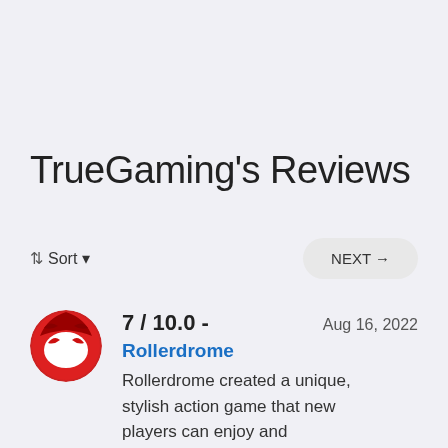TrueGaming's Reviews
⇅ Sort ▾
NEXT →
[Figure (illustration): Red circular avatar with a white demon/devil mask face with angry eyes on dark red background]
7 / 10.0 -   Aug 16, 2022
Rollerdrome
Rollerdrome created a unique, stylish action game that new players can enjoy and demonstrate their skills at, while